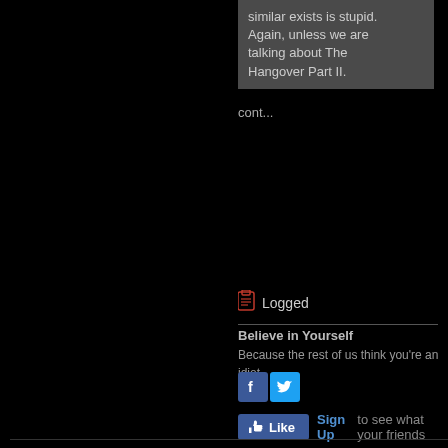similar exists is stupid. Again, unless we are talking about The Hangover Part II.
cont...
Logged
Believe in Yourself
Because the rest of us think you're an idiot.
[Figure (logo): Facebook and Twitter social share icons]
[Figure (screenshot): Facebook Like button with Sign Up link and 'to see what your friends' text]